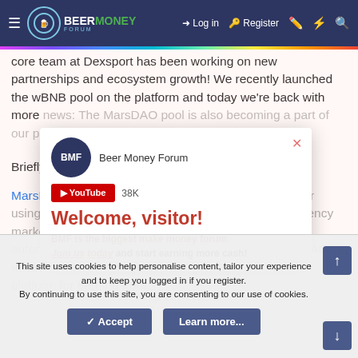Beer Money Forum — Log in — Register
core team at Dexsport has been working on new partnerships and ecosystem growth! We recently launched the wBNB pool on the platform and today we're back with more news: The MarsDAO pool is also becoming a part of our project.
Briefly about MarsDAO:
MarsDAO is a multifunctional decentralized platform for using various investment instruments in the cryptocurrency market and operating on the principle of decentralized autonomous organizations (DAO) based on the MarsDAO token. The products include a cryptocurrency wallet, a platform for earning from
[Figure (screenshot): Beer Money Forum popup with YouTube 38K subscribers link, Welcome visitor message, BMF is the biggest make money forum. Join us today and start earning more cash!]
This site uses cookies to help personalise content, tailor your experience and to keep you logged in if you register.
By continuing to use this site, you are consenting to our use of cookies.
Accept    Learn more...